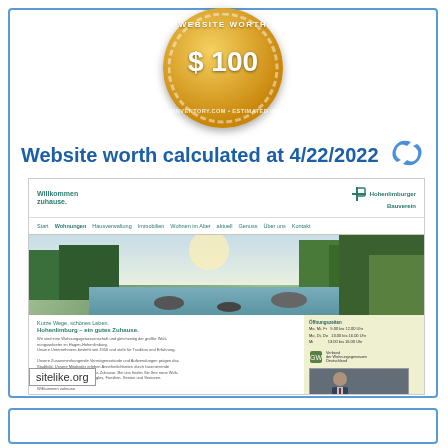[Figure (illustration): Gold medal / coin with 'WEBSITE WORTH' text around the edge and '$ 100' in the center]
Website worth calculated at 4/22/2022
[Figure (screenshot): Screenshot of hohenlimburger-bauverein.de showing navigation, hero landscape image, and content about Hohenlimburg housing]
sitelike.org